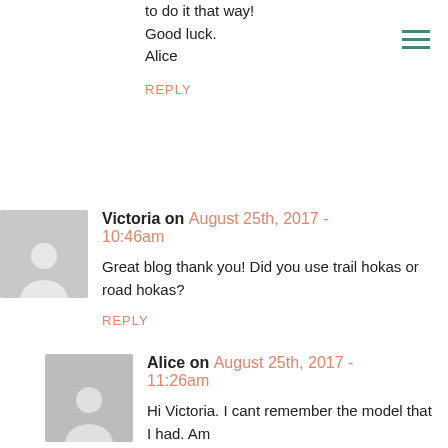to do it that way!
Good luck.
Alice
REPLY
Victoria on August 25th, 2017 - 10:46am
Great blog thank you! Did you use trail hokas or road hokas?
REPLY
Alice on August 25th, 2017 - 11:26am
Hi Victoria. I cant remember the model that I had. Am